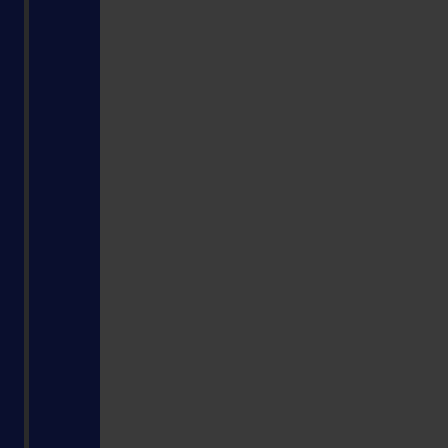cert is a plac for such inte likel why I'm hap runn KDE BTW if you hav any Pow Mac that see to hav bee